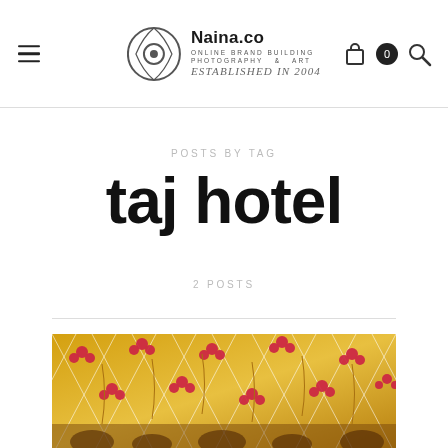Naina.co — ONLINE BRAND BUILDING PHOTOGRAPHY & ART — ESTABLISHED IN 2004
POSTS BY TAG
taj hotel
2 POSTS
[Figure (photo): Wedding decoration photo showing ornate golden floral and string decorations with pink/red flowers, possibly a mehndi or wedding ceremony backdrop shot from below.]